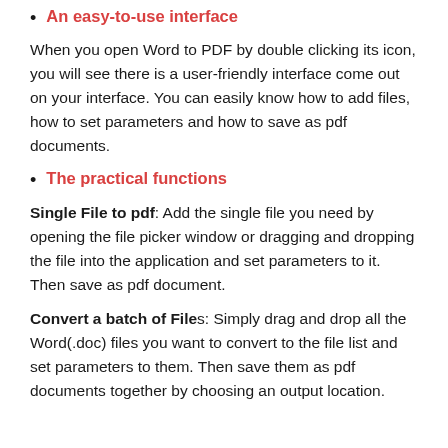An easy-to-use interface
When you open Word to PDF by double clicking its icon, you will see there is a user-friendly interface come out on your interface. You can easily know how to add files, how to set parameters and how to save as pdf documents.
The practical functions
Single File to pdf: Add the single file you need by opening the file picker window or dragging and dropping the file into the application and set parameters to it. Then save as pdf document.
Convert a batch of Files: Simply drag and drop all the Word(.doc) files you want to convert to the file list and set parameters to them. Then save them as pdf documents together by choosing an output location.